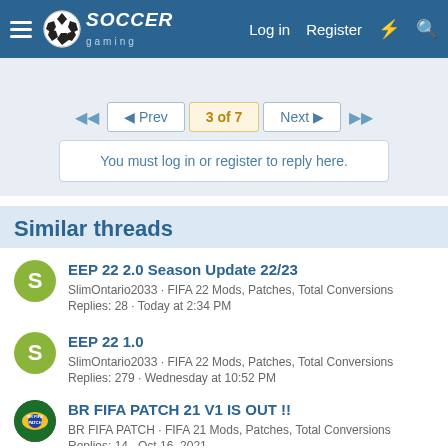Soccer Gaming — Log in | Register
3 of 7 — Prev / Next pagination
You must log in or register to reply here.
Similar threads
EEP 22 2.0 Season Update 22/23 · SlimOntario2033 · FIFA 22 Mods, Patches, Total Conversions · Replies: 28 · Today at 2:34 PM
EEP 22 1.0 · SlimOntario2033 · FIFA 22 Mods, Patches, Total Conversions · Replies: 279 · Wednesday at 10:52 PM
BR FIFA PATCH 21 V1 IS OUT !! · BR FIFA PATCH · FIFA 21 Mods, Patches, Total Conversions · Replies: 14 · Oct 16, 2021
EEP (partial, cut off)